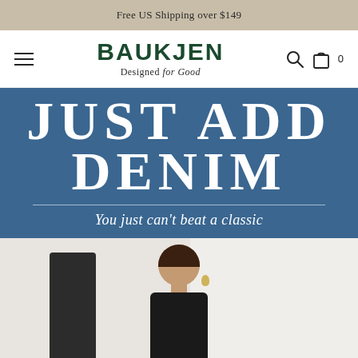Free US Shipping over $149
[Figure (logo): BAUKJEN brand logo with tagline 'Designed for Good', navigation bar with hamburger menu, search icon, and shopping bag icon with 0 count]
JUST ADD DENIM
You just can't beat a classic
[Figure (photo): Woman with dark hair wearing a black top, smiling, photographed from waist up against a light background]